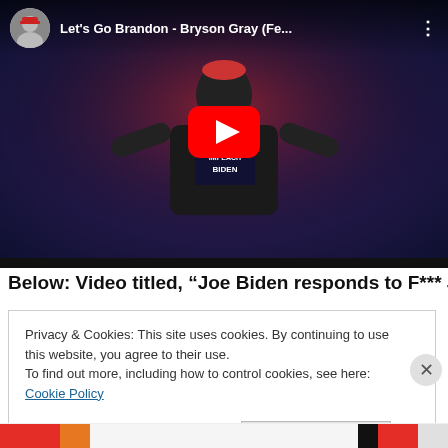[Figure (screenshot): YouTube video thumbnail showing a music video 'Let's Go Brandon - Bryson Gray (Fe...' with a man in an Impeach Biden shirt, a play button overlay, and channel avatar in top left.]
Below: Video titled, “Joe Biden responds to F*** Joe Biden
Privacy & Cookies: This site uses cookies. By continuing to use this website, you agree to their use.
To find out more, including how to control cookies, see here: Cookie Policy
Close and accept